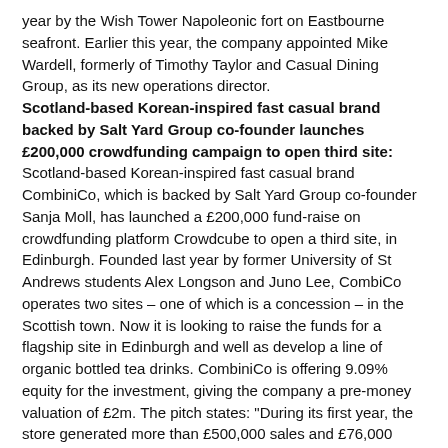year by the Wish Tower Napoleonic fort on Eastbourne seafront. Earlier this year, the company appointed Mike Wardell, formerly of Timothy Taylor and Casual Dining Group, as its new operations director.
Scotland-based Korean-inspired fast casual brand backed by Salt Yard Group co-founder launches £200,000 crowdfunding campaign to open third site: Scotland-based Korean-inspired fast casual brand CombiniCo, which is backed by Salt Yard Group co-founder Sanja Moll, has launched a £200,000 fund-raise on crowdfunding platform Crowdcube to open a third site, in Edinburgh. Founded last year by former University of St Andrews students Alex Longson and Juno Lee, CombiCo operates two sites – one of which is a concession – in the Scottish town. Now it is looking to raise the funds for a flagship site in Edinburgh and well as develop a line of organic bottled tea drinks. CombiniCo is offering 9.09% equity for the investment, giving the company a pre-money valuation of £2m. The pitch states: "During its first year, the store generated more than £500,000 sales and £76,000 profit from what is a 20 square metre space with six seats. We have sold more than 70,000 of our signature BiniBowls. CombiniCo is looking to raise £200,000 on Crowdcube to build a third retail and flagship location in Edinburgh, and to develop a line of organic bottled tea beverages."
Downing exits two Upham investments: Investment manager Downing has announced the exit from two freehold gastropub investments managed by Upham Pub Group. Both